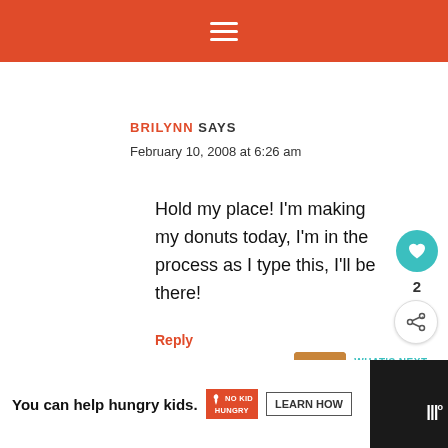≡
BRILYNN SAYS
February 10, 2008 at 6:26 am
Hold my place! I'm making my donuts today, I'm in the process as I type this, I'll be there!
Reply
WHAT'S NEXT → The joys of fried dough....
You can help hungry kids. NO KID HUNGRY LEARN HOW